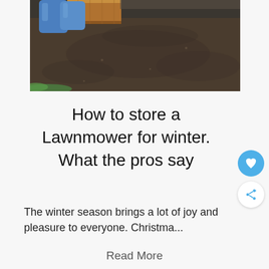[Figure (photo): Outdoor garden scene showing dark bare soil/dirt, green grass at bottom left, and a wooden raised bed with blue bags/covers in the upper left corner.]
How to store a Lawnmower for winter. What the pros say
The winter season brings a lot of joy and pleasure to everyone. Christma...
Read More